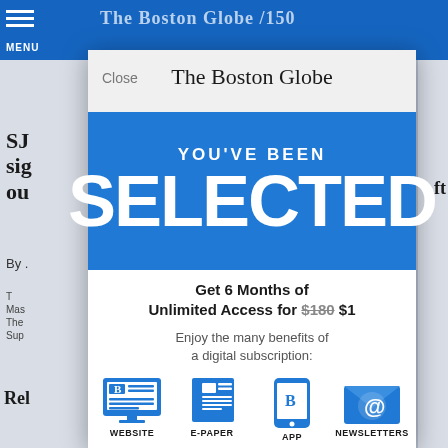The Boston Globe
[Figure (screenshot): Screenshot of The Boston Globe website with a modal subscription overlay. The modal shows 'YOU'VE BEEN SELECTED' in a blue banner, followed by an offer: 'Get 6 Months of Unlimited Access for $180 $1', description 'Enjoy the many benefits of a digital subscription:', and four blue icons for WEBSITE, E-PAPER, APP, NEWSLETTERS. Behind the modal, partial article text and navigation are visible.]